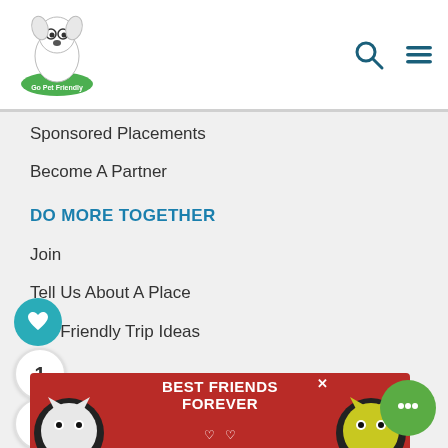Go Pet Friendly — navigation header with logo, search icon, and menu icon
Sponsored Placements
Become A Partner
DO MORE TOGETHER
Join
Tell Us About A Place
Pet Friendly Trip Ideas
Blog
Trip Planner (Beta)
Friendly Road Trips
Write a Review
FOLLOW US
Facebook
[Figure (screenshot): Advertisement banner: BEST FRIENDS FOREVER with cat images on left and right]